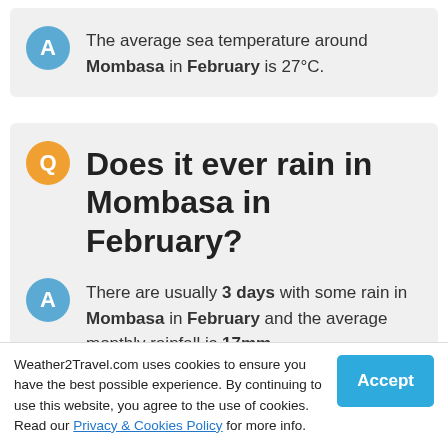The average sea temperature around Mombasa in February is 27°C.
Does it ever rain in Mombasa in February?
There are usually 3 days with some rain in Mombasa in February and the average monthly rainfall is 17mm.
Mombasa February sunrise &
Weather2Travel.com uses cookies to ensure you have the best possible experience. By continuing to use this website, you agree to the use of cookies. Read our Privacy & Cookies Policy for more info.